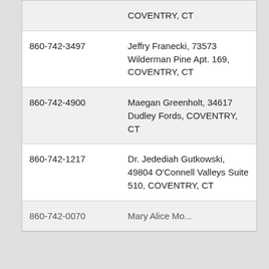| Phone | Name / Address |
| --- | --- |
|  | COVENTRY, CT |
| 860-742-3497 | Jeffry Franecki, 73573 Wilderman Pine Apt. 169, COVENTRY, CT |
| 860-742-4900 | Maegan Greenholt, 34617 Dudley Fords, COVENTRY, CT |
| 860-742-1217 | Dr. Jedediah Gutkowski, 49804 O'Connell Valleys Suite 510, COVENTRY, CT |
| 860-742-0070 | Mary Alice Moran... |